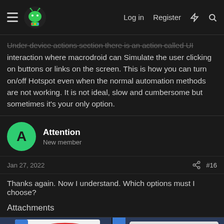Macrodroid forum header with hamburger menu, logo, Log in, Register, lightning icon, search icon
Under device actions section there is an action called UI interaction where macrodroid can Simulate the user clicking on buttons or links on the screen. This is how you can turn on/off Hotspot even when the normal automation methods are not working. It is not ideal, slow and cumbersome but sometimes it's your only option.
Attention
New member
Jan 27, 2022
#16
Thanks again. Now I understand. Which options must I choose?
Attachments
[Figure (screenshot): Android app screenshot showing radio button options: Click (selected, circled in red), Long click, Copy]
[Figure (screenshot): Android app screenshot showing 'Select Option' dialog with Current focus selected (circled in red) and Text content option below (strikethrough)]